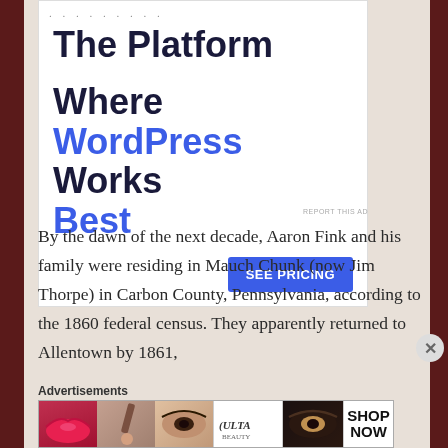[Figure (infographic): Advertisement banner: 'The Platform Where WordPress Works Best' with a blue 'SEE PRICING' button on white background with decorative dots at top]
By the dawn of the next decade, Aaron Fink and his family were residing in Mauch Chunk (now Jim Thorpe) in Carbon County, Pennsylvania, according to the 1860 federal census. They apparently returned to Allentown by 1861,
Advertisements
[Figure (photo): Ulta Beauty advertisement banner showing beauty/makeup imagery - lips, brush, eyes, Ulta logo, and SHOP NOW call to action]